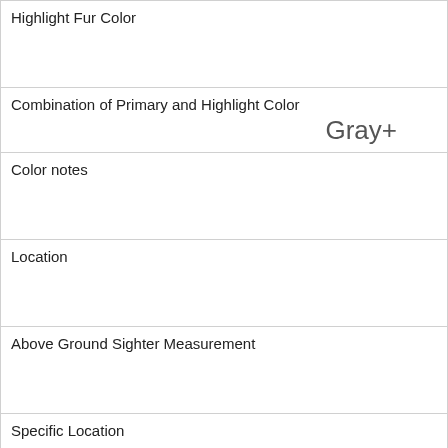| Highlight Fur Color |  |
| Combination of Primary and Highlight Color | Gray+ |
| Color notes |  |
| Location |  |
| Above Ground Sighter Measurement |  |
| Specific Location |  |
| Running | 1 |
| Chasing | 0 |
| Climbing | 0 |
| Eating | 0 |